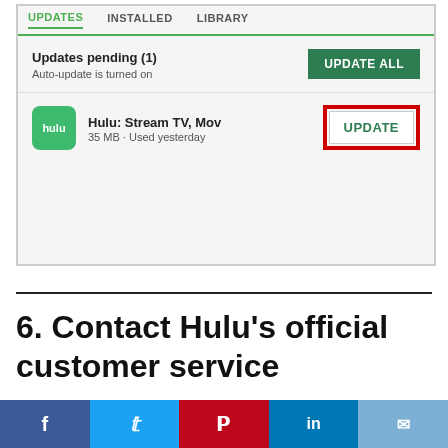[Figure (screenshot): Android Google Play Store screenshot showing Updates tab with 'Updates pending (1)' and 'Auto-update is turned on', UPDATE ALL green button, and Hulu app row with UPDATE button highlighted in red border. Tabs visible: UPDATES (active), INSTALLED, LIBRARY.]
6. Contact Hulu's official customer service